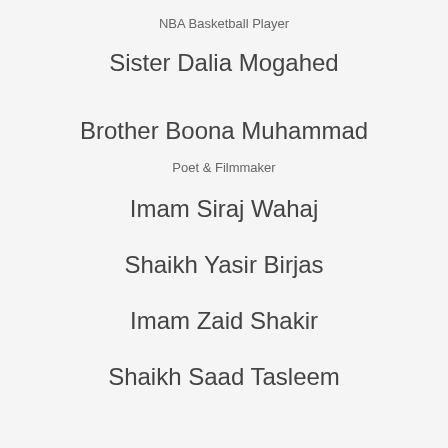NBA Basketball Player
Sister Dalia Mogahed
Brother Boona Muhammad
Poet & Filmmaker
Imam Siraj Wahaj
Shaikh Yasir Birjas
Imam Zaid Shakir
Shaikh Saad Tasleem